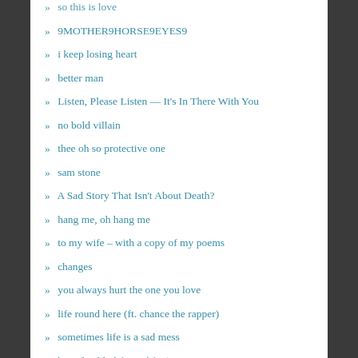» so this is love
» 9MOTHER9HORSE9EYES9
» i keep losing heart
» better man
» Listen, Please Listen — It's In There With You
» no bold villain
» thee oh so protective one
» sam stone
» A Sad Story That Isn't About Death?
» hang me, oh hang me
» to my wife – with a copy of my poems
» changes
» you always hurt the one you love
» life round here (ft. chance the rapper)
» sometimes life is a sad mess
» beat (health, life, and fire)